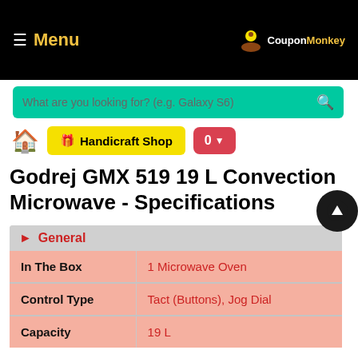Menu | CouponMonkey
[Figure (screenshot): Search bar with teal background and placeholder text 'What are you looking for? (e.g. Galaxy S6)']
[Figure (screenshot): Toolbar with home icon, yellow Handicraft Shop button, and red cart button showing 0]
Godrej GMX 519 19 L Convection Microwave - Specifications
|  |  |
| --- | --- |
| In The Box | 1 Microwave Oven |
| Control Type | Tact (Buttons), Jog Dial |
| Capacity | 19 L |